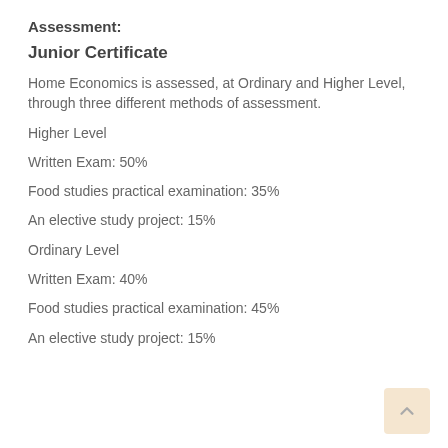Assessment:
Junior Certificate
Home Economics is assessed, at Ordinary and Higher Level, through three different methods of assessment.
Higher Level
Written Exam: 50%
Food studies practical examination: 35%
An elective study project: 15%
Ordinary Level
Written Exam: 40%
Food studies practical examination: 45%
An elective study project: 15%